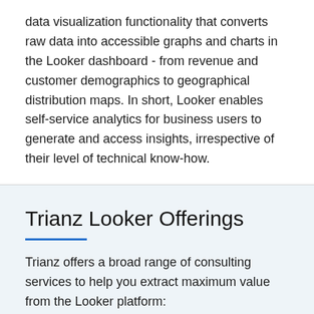data visualization functionality that converts raw data into accessible graphs and charts in the Looker dashboard - from revenue and customer demographics to geographical distribution maps. In short, Looker enables self-service analytics for business users to generate and access insights, irrespective of their level of technical know-how.
Trianz Looker Offerings
Trianz offers a broad range of consulting services to help you extract maximum value from the Looker platform: